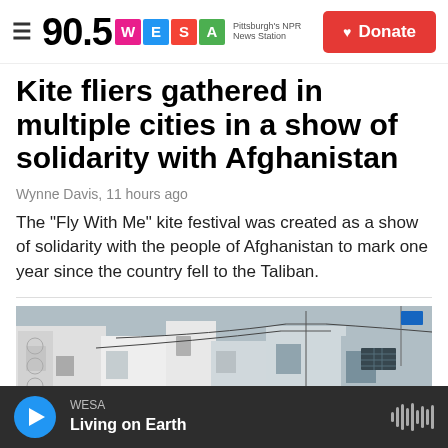90.5 WESA Pittsburgh's NPR News Station | Donate
Kite fliers gathered in multiple cities in a show of solidarity with Afghanistan
Wynne Davis,  11 hours ago
The "Fly With Me" kite festival was created as a show of solidarity with the people of Afghanistan to mark one year since the country fell to the Taliban.
[Figure (photo): Street scene in an Afghan city with white multi-story buildings, utility poles with cables, and a blue flag visible in the background]
WESA — Living on Earth